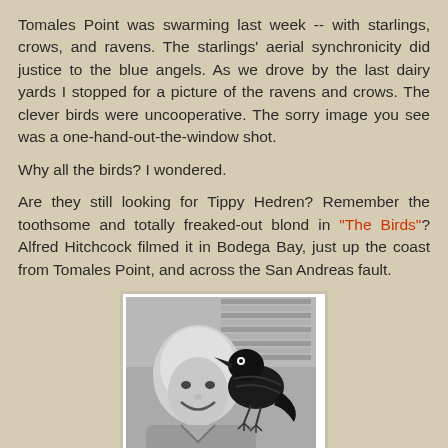Tomales Point was swarming last week -- with starlings, crows, and ravens. The starlings' aerial synchronicity did justice to the blue angels. As we drove by the last dairy yards I stopped for a picture of the ravens and crows. The clever birds were uncooperative. The sorry image you see was a one-hand-out-the-window shot.
Why all the birds? I wondered.
Are they still looking for Tippy Hedren? Remember the toothsome and totally freaked-out blond in "The Birds"? Alfred Hitchcock filmed it in Bodega Bay, just up the coast from Tomales Point, and across the San Andreas fault.
[Figure (photo): Black and white photograph of a smiling blond woman (Tippi Hedren) with a large black crow or raven perched on her shoulder, referencing the Hitchcock film 'The Birds'.]